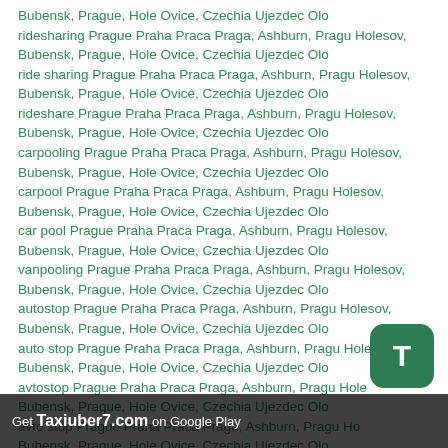Bubensk, Prague, Hole Ovice, Czechia Ujezdec Olo ridesharing Prague Praha Praca Praga, Ashburn, Pragu Holesov, Bubensk, Prague, Hole Ovice, Czechia Ujezdec Olo ride sharing Prague Praha Praca Praga, Ashburn, Pragu Holesov, Bubensk, Prague, Hole Ovice, Czechia Ujezdec Olo rideshare Prague Praha Praca Praga, Ashburn, Pragu Holesov, Bubensk, Prague, Hole Ovice, Czechia Ujezdec Olo carpooling Prague Praha Praca Praga, Ashburn, Pragu Holesov, Bubensk, Prague, Hole Ovice, Czechia Ujezdec Olo carpool Prague Praha Praca Praga, Ashburn, Pragu Holesov, Bubensk, Prague, Hole Ovice, Czechia Ujezdec Olo car pool Prague Praha Praca Praga, Ashburn, Pragu Holesov, Bubensk, Prague, Hole Ovice, Czechia Ujezdec Olo vanpooling Prague Praha Praca Praga, Ashburn, Pragu Holesov, Bubensk, Prague, Hole Ovice, Czechia Ujezdec Olo autostop Prague Praha Praca Praga, Ashburn, Pragu Holesov, Bubensk, Prague, Hole Ovice, Czechia Ujezdec Olo auto stop Prague Praha Praca Praga, Ashburn, Pragu Holesov, Bubensk, Prague, Hole Ovice, Czechia Ujezdec Olo avtostop Prague Praha Praca Praga, Ashburn, Pragu Holesov, Bubensk, Prague, Hole Ovice, Czechia Ujezdec Olo avto stop Prague Praha Praca Praga, Ashburn, Pragu Holesov, Bubensk, Prague, Hole Ovice, Czechia Ujezdec Olo savt Prague Praha Praca Praga, Ashburn, Pragu Holesov, Bubensk, Prague, Hole Ovice, Czechia Ujezdec Olo 2022 Indriver Prague
Get Taxiuber7.com on Google Play